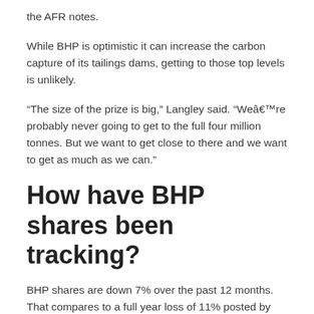the AFR notes.
While BHP is optimistic it can increase the carbon capture of its tailings dams, getting to those top levels is unlikely.
“The size of the prize is big,” Langley said. “Weâre probably never going to get to the full four million tonnes. But we want to get close to there and we want to get as much as we can.”
How have BHP shares been tracking?
BHP shares are down 7% over the past 12 months. That compares to a full year loss of 11% posted by the ASX 200.
At the current share price, BHP pays an 11.7% trailing